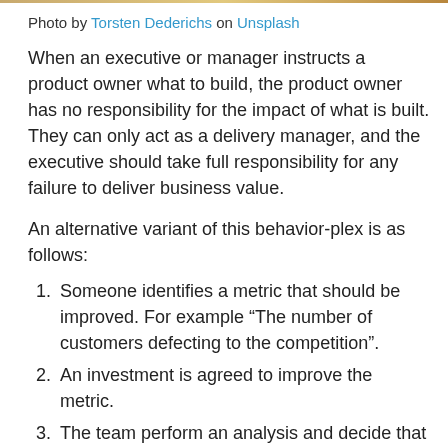Photo by Torsten Dederichs on Unsplash
When an executive or manager instructs a product owner what to build, the product owner has no responsibility for the impact of what is built. They can only act as a delivery manager, and the executive should take full responsibility for any failure to deliver business value.
An alternative variant of this behavior-plex is as follows:
Someone identifies a metric that should be improved. For example “The number of customers defecting to the competition”.
An investment is agreed to improve the metric.
The team perform an analysis and decide that the best solution is to build a “widget”
Based on the analysis presented, the executives agree